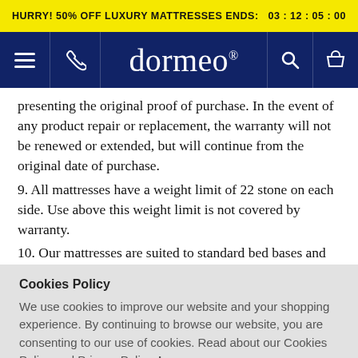HURRY! 50% OFF LUXURY MATTRESSES ENDS: 03 : 12 : 05 : 00
[Figure (screenshot): Dormeo website navigation bar with hamburger menu, phone icon, Dormeo logo, search icon, and basket icon on dark navy background]
presenting the original proof of purchase. In the event of any product repair or replacement, the warranty will not be renewed or extended, but will continue from the original date of purchase.
9. All mattresses have a weight limit of 22 stone on each side. Use above this weight limit is not covered by warranty.
10. Our mattresses are suited to standard bed bases and
Cookies Policy
We use cookies to improve our website and your shopping experience. By continuing to browse our website, you are consenting to our use of cookies. Read about our Cookies Policy and Privacy Policy. Learn more.
OK, GOT IT!